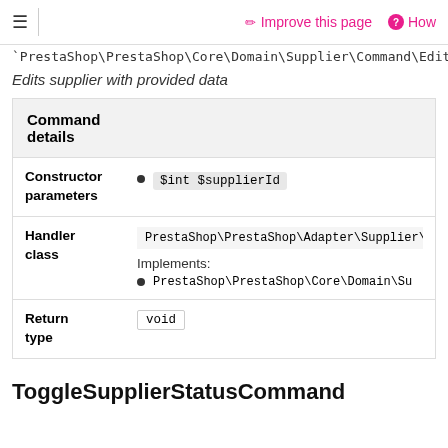≡  Improve this page  ? How
PrestaShop\PrestaShop\Core\Domain\Supplier\Command\EditS
Edits supplier with provided data
| Command details |  |
| --- | --- |
| Constructor parameters | $int $supplierId |
| Handler class | PrestaShop\PrestaShop\Adapter\Supplier\Com
Implements:
PrestaShop\PrestaShop\Core\Domain\Su |
| Return type | void |
ToggleSupplierStatusCommand